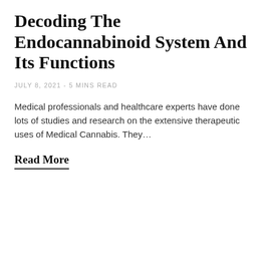Decoding The Endocannabinoid System And Its Functions
JULY 8, 2021 - 5 MINS READ
Medical professionals and healthcare experts have done lots of studies and research on the extensive therapeutic uses of Medical Cannabis. They…
Read More